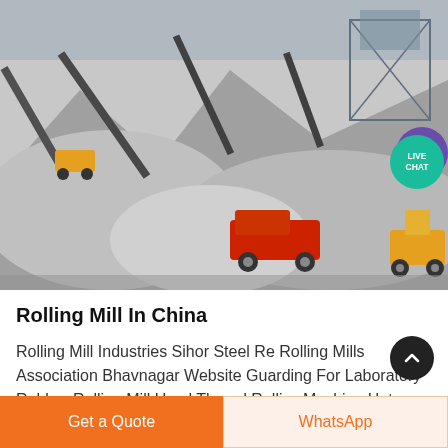[Figure (photo): Aerial view of a mining/quarry site with gray stone piles, conveyor belts, a red dump truck, heavy machinery, and industrial equipment.]
Rolling Mill In China
Rolling Mill Industries Sihor Steel Re Rolling Mills Association Bhavnagar Website Guarding For Laboratory Rubber Rolling Mill Used Thread Rolling Machine Hot Rolling Mill Stands Rolling Mill Raw